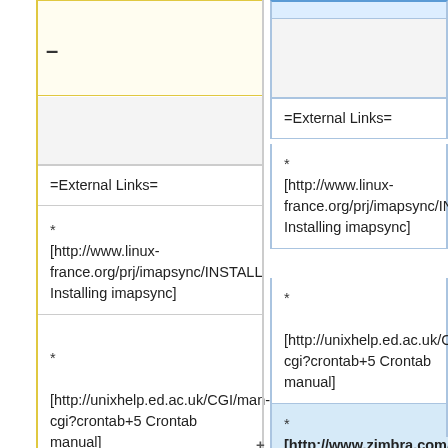-
=External Links=
* [http://www.linux-france.org/prj/imapsync/INSTALL Installing imapsync]
* [http://unixhelp.ed.ac.uk/CGI/man-cgi?crontab+5 Crontab manual]
=External Links=
* [http://www.linux-france.org/prj/imapsync/INSTALL Installing imapsync]
* [http://unixhelp.ed.ac.uk/CGI/man-cgi?crontab+5 Crontab manual]
* [http://www.zimbra.com/forums/migration/ Zimbra Migration Forum]
* [http://www.zimbra.com/forums/installation/ Zimbra